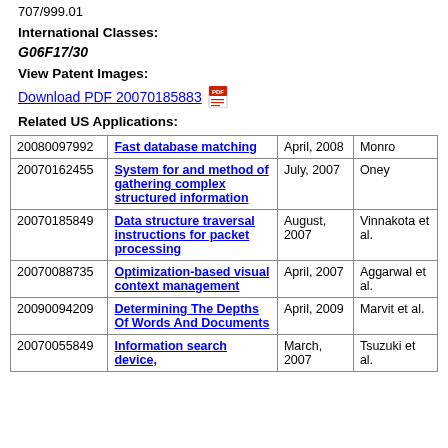707/999.01
International Classes:
G06F17/30
View Patent Images:
Download PDF 20070185883
Related US Applications:
|  |  |  |  |
| --- | --- | --- | --- |
| 20080097992 | Fast database matching | April, 2008 | Monro |
| 20070162455 | System for and method of gathering complex structured information | July, 2007 | Oney |
| 20070185849 | Data structure traversal instructions for packet processing | August, 2007 | Vinnakota et al. |
| 20070088735 | Optimization-based visual context management | April, 2007 | Aggarwal et al. |
| 20090094209 | Determining The Depths Of Words And Documents | April, 2009 | Marvit et al. |
| 20070055849 | Information search device, | March, 2007 | Tsuzuki et al. |